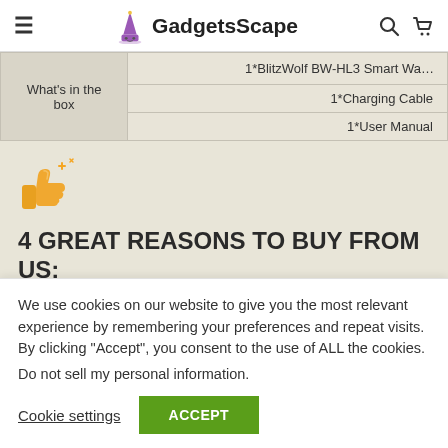GadgetsScape
| What's in the box | Contents |
| --- | --- |
| What's in the box | 1*BlitzWolf BW-HL3 Smart Wa… |
|  | 1*Charging Cable |
|  | 1*User Manual |
[Figure (illustration): Thumbs up emoji with sparkles]
4 GREAT REASONS TO BUY FROM US:
We use cookies on our website to give you the most relevant experience by remembering your preferences and repeat visits. By clicking "Accept", you consent to the use of ALL the cookies.
Do not sell my personal information.
Cookie settings  ACCEPT